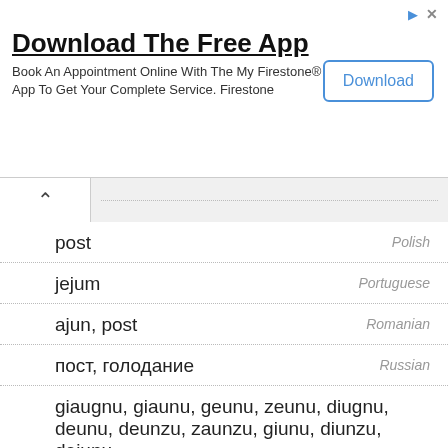[Figure (other): Advertisement banner: Download The Free App - Book An Appointment Online With The My Firestone® App To Get Your Complete Service. Firestone. Download button.]
post — Polish
jejum — Portuguese
ajun, post — Romanian
пост, голодание — Russian
giaugnu, giaunu, geunu, zeunu, diugnu, deunu, deunzu, zaunzu, giunu, diunzu, dejunu — Sardinian
пост, post — Serbo-Croatian
pôst — Slovak